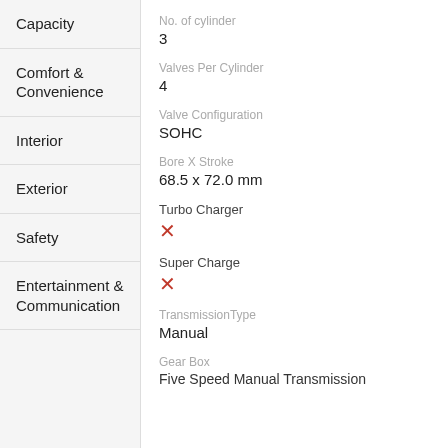Capacity
Comfort & Convenience
Interior
Exterior
Safety
Entertainment & Communication
No. of cylinder
3
Valves Per Cylinder
4
Valve Configuration
SOHC
Bore X Stroke
68.5 x 72.0 mm
Turbo Charger
✗
Super Charge
✗
TransmissionType
Manual
Gear Box
Five Speed Manual Transmission